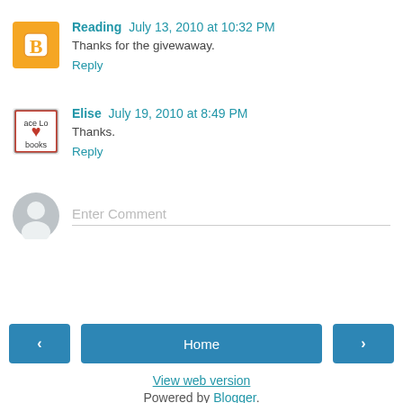Reading  July 13, 2010 at 10:32 PM
Thanks for the givewaway.
Reply
Elise  July 19, 2010 at 8:49 PM
Thanks.
Reply
Enter Comment
Home
View web version
Powered by Blogger.